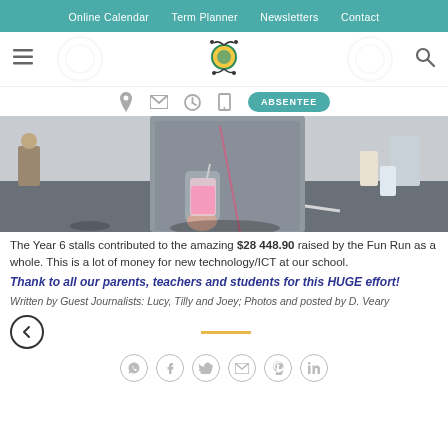Online Calendar   Term Planner   Newsletters   Contact
[Figure (photo): School website header with logo, hamburger menu, search icon, location/email/clock/phone icons and ABSENTEE button]
[Figure (photo): Photo of a student holding a pink drink at an outdoor school Fun Run event]
The Year 6 stalls contributed to the amazing $28 448.90 raised by the Fun Run as a whole.  This is a lot of money for new technology/ICT at our school.
Thank to all our parents, teachers and students for this HUGE effort!
Written by Guest Journalists: Lucy, Tilly and Joey; Photos and posted by D. Veary